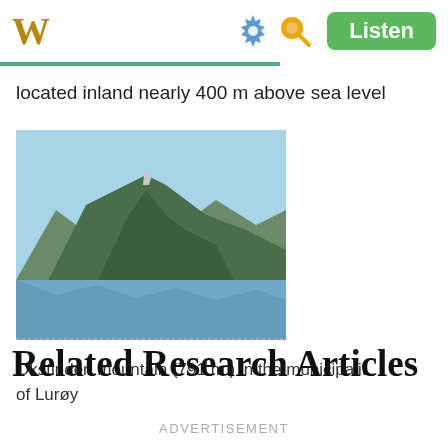W  Listen
located inland nearly 400 m above sea level
[Figure (photo): Okstinden mountain reflected in a lake, with green forested slopes and rocky peaks against a blue sky.]
Okstinden mountain (791 m.) in the municipality of Lurøy
Related Research Articles
ADVERTISEMENT